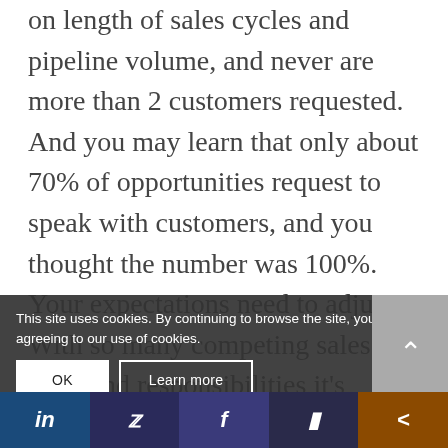on length of sales cycles and pipeline volume, and never are more than 2 customers requested. And you may learn that only about 70% of opportunities request to speak with customers, and you thought the number was 100%. Your expectations need to adjust. With so many competing sales tools and responsibilities it's important to get things right the first time. The board will allow you to gauge how configuration changes, implementing new features or changing processes will be received by the field. Members of the board are also ambassadors for the program and the technology, and should be identified as aggregating... agreeing to our use of cookies. ssistan when no one... stomer reference
This site uses cookies. By continuing to browse the site, you are agreeing to our use of cookies.
OK
Learn more